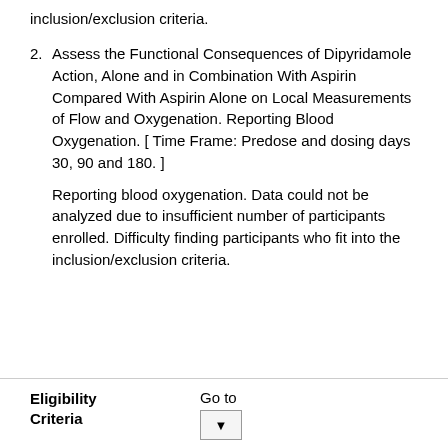inclusion/exclusion criteria.
2. Assess the Functional Consequences of Dipyridamole Action, Alone and in Combination With Aspirin Compared With Aspirin Alone on Local Measurements of Flow and Oxygenation. Reporting Blood Oxygenation. [ Time Frame: Predose and dosing days 30, 90 and 180. ]
Reporting blood oxygenation. Data could not be analyzed due to insufficient number of participants enrolled. Difficulty finding participants who fit into the inclusion/exclusion criteria.
Eligibility Criteria
Go to